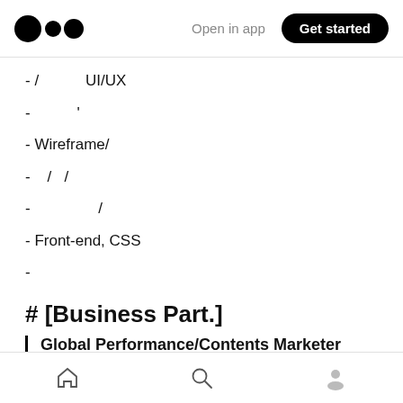Medium — Open in app | Get started
- /  UI/UX
- ,
- Wireframe/
- / /
- /
- Front-end, CSS
-
# [Business Part.]
Global Performance/Contents Marketer
1
home | search | profile